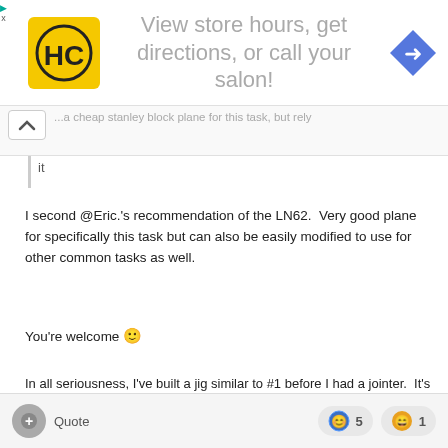[Figure (screenshot): Advertisement banner: HC logo (yellow background), text 'View store hours, get directions, or call your salon!', blue diamond arrow icon]
...a cheap stanley block plane for this task, but rely it
I second @Eric.'s recommendation of the LN62.  Very good plane for specifically this task but can also be easily modified to use for other common tasks as well.
You're welcome 🙂
In all seriousness, I've built a jig similar to #1 before I had a jointer.  It's pretty much what convinced me to buy a jointer.  Your 6" is plenty wide to joint boards up to 9" long using the jointer trick that JFitz mentioned (and using that trick you really need to know nothing about hand planes because the strip you're removing is less than the width of a plane iron in almost all cases.
Quote   5   1